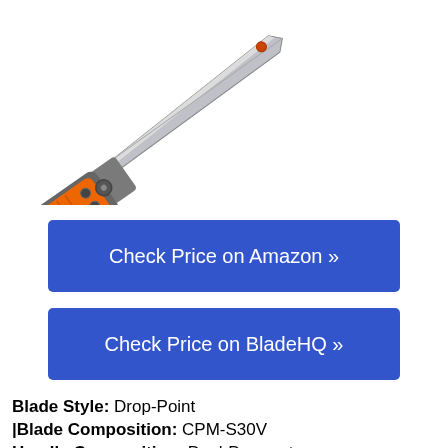[Figure (photo): A folding pocket knife with a gray metallic blade and orange and gray dual-durometer handle, shown diagonally with blade open.]
Check Price on Amazon »
Check Price on BladeHQ »
Blade Style: Drop-Point |Blade Composition: CPM-S30V Handle Composition: Dual-Durometer Glass-Filled Nylon